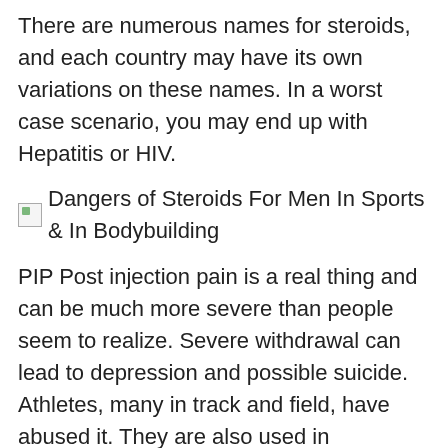There are numerous names for steroids, and each country may have its own variations on these names. In a worst case scenario, you may end up with Hepatitis or HIV.
[Figure (photo): Broken image placeholder with alt text: Dangers of Steroids For Men In Sports & In Bodybuilding]
PIP Post injection pain is a real thing and can be much more severe than people seem to realize. Severe withdrawal can lead to depression and possible suicide. Athletes, many in track and field, have abused it. They are also used in veterinary practice to treat anemia and counteract tissue breakdown during illness and trauma.
Trenbolone is a European drug with a very high abuse record. An added beta hydroxyl group inhibits its aromatization. People may believe that these supplements will produce the same desired effects as steroids, but at the same time avoid the medical consequences associated with